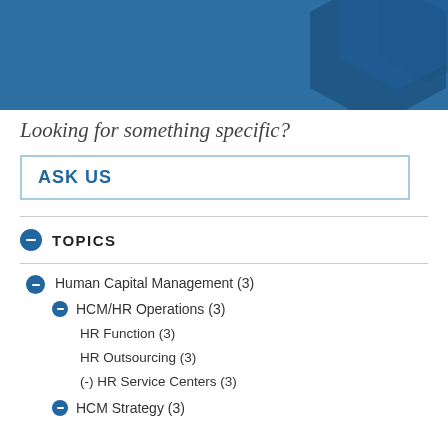[Figure (illustration): Blue hexagon decorative background header with dark blue geometric hexagon shapes on the right side]
Looking for something specific?
ASK US
TOPICS
Human Capital Management (3)
HCM/HR Operations (3)
HR Function (3)
HR Outsourcing (3)
(-) HR Service Centers (3)
HCM Strategy (3)